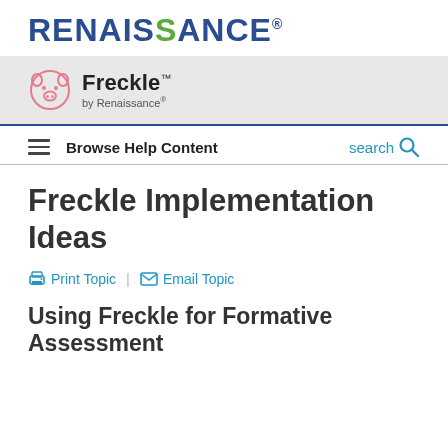[Figure (logo): Renaissance logo in blue and green text]
[Figure (logo): Freckle by Renaissance logo with pink pig icon on grey background]
Browse Help Content   search
Freckle Implementation Ideas
Print Topic | Email Topic
Using Freckle for Formative Assessment